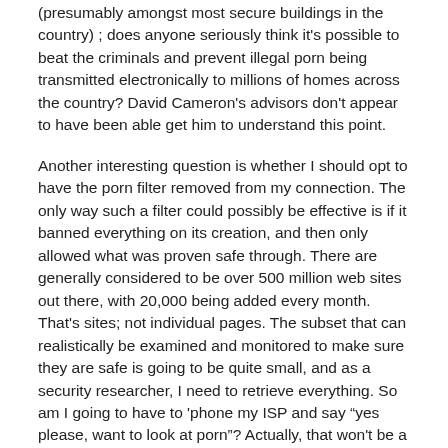(presumably amongst most secure buildings in the country) ; does anyone seriously think it's possible to beat the criminals and prevent illegal porn being transmitted electronically to millions of homes across the country? David Cameron's advisors don't appear to have been able get him to understand this point.
Another interesting question is whether I should opt to have the porn filter removed from my connection. The only way such a filter could possibly be effective is if it banned everything on its creation, and then only allowed what was proven safe through. There are generally considered to be over 500 million web sites out there, with 20,000 being added every month. That's sites; not individual pages. The subset that can realistically be examined and monitored to make sure they are safe is going to be quite small, and as a security researcher, I need to retrieve everything. So am I going to have to 'phone my ISP and say "yes please, want to look at porn"? Actually, that won't be a problem for me because I am my own ISP. The government doesn't even know I exist; there is no register of ISPs (or even a definition of the term). There are probably tens of thousands in the country. So I shall await a call from Mr Cameron's office with a full technical explanation of this filtering  scheme with interest.
Fortunately for the Prime Minister, his live speech on the subject scheduled for 11am has been displaced by a load of royal reporters